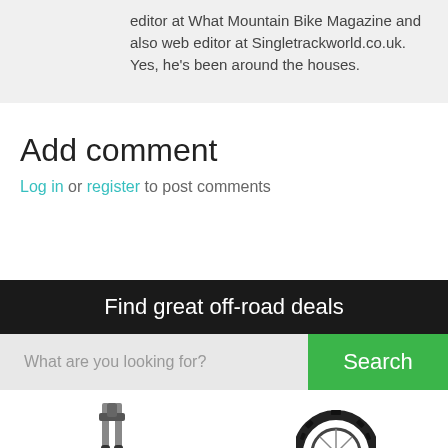editor at What Mountain Bike Magazine and also web editor at Singletrackworld.co.uk. Yes, he's been around the houses.
Add comment
Log in or register to post comments
Find great off-road deals
What are you looking for?
Search
[Figure (photo): Mountain bike fork product image (partial, bottom portion visible)]
[Figure (photo): Mountain bike tyre product image (partial, bottom portion visible)]